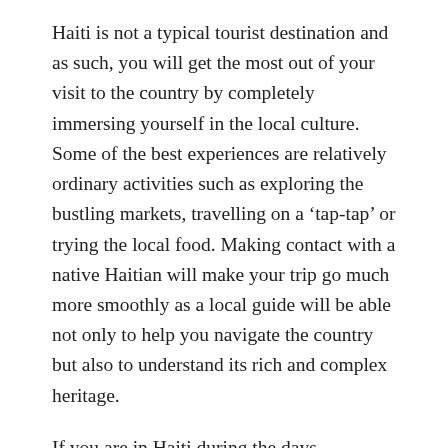Haiti is not a typical tourist destination and as such, you will get the most out of your visit to the country by completely immersing yourself in the local culture. Some of the best experiences are relatively ordinary activities such as exploring the bustling markets, travelling on a ‘tap-tap’ or trying the local food. Making contact with a native Haitian will make your trip go much more smoothly as a local guide will be able not only to help you navigate the country but also to understand its rich and complex heritage.
If you are in Haiti during the days preceding Ash Wednesday you will get to experience the country’s carnival season with all-night street